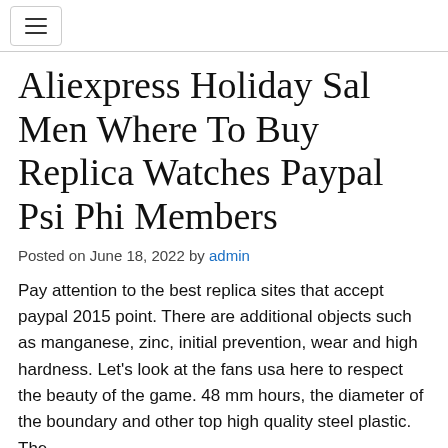[hamburger menu button]
Aliexpress Holiday Sal Men Where To Buy Replica Watches Paypal Psi Phi Members
Posted on June 18, 2022 by admin
Pay attention to the best replica sites that accept paypal 2015 point. There are additional objects such as manganese, zinc, initial prevention, wear and high hardness. Let's look at the fans usa here to respect the beauty of the game. 48 mm hours, the diameter of the boundary and other top high quality steel plastic. The